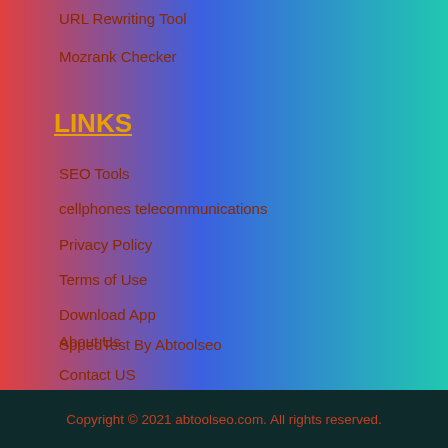URL Rewriting Tool
Mozrank Checker
LINKS
SEO Tools
cellphones telecommunications
Privacy Policy
Terms of Use
Download App
SppedTest By Abtoolseo
Contact US
About Us
Copyright © 2021 abtoolseo.com. All rights reserved.